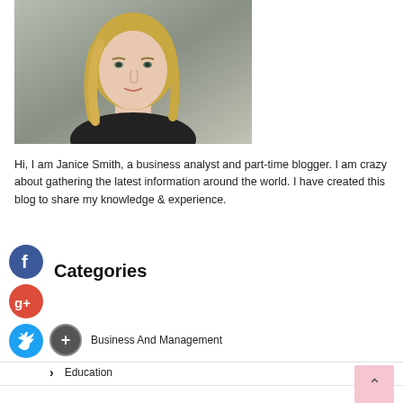[Figure (photo): Headshot of a woman with long blonde hair wearing a black top, photographed against a gray background.]
Hi, I am Janice Smith, a business analyst and part-time blogger. I am crazy about gathering the latest information around the world. I have created this blog to share my knowledge & experience.
[Figure (infographic): Facebook social media icon (blue circle with white 'f')]
[Figure (infographic): Google Plus social media icon (red circle with white 'g+')]
[Figure (infographic): Twitter social media icon (blue circle with white bird)]
Categories
Business And Management
Education